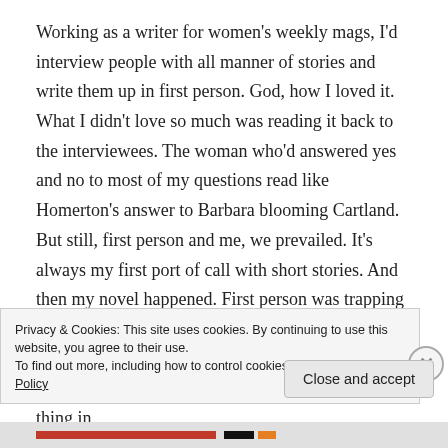Working as a writer for women's weekly mags, I'd interview people with all manner of stories and write them up in first person. God, how I loved it. What I didn't love so much was reading it back to the interviewees. The woman who'd answered yes and no to most of my questions read like Homerton's answer to Barbara blooming Cartland. But still, first person and me, we prevailed. It's always my first port of call with short stories. And then my novel happened. First person was trapping me in the characters' heads; I'd ended up using their thoughts to steer the reader instead of showing action and writing dialogue. Rewriting the whole thing in
Privacy & Cookies: This site uses cookies. By continuing to use this website, you agree to their use.
To find out more, including how to control cookies, see here: Cookie Policy
Close and accept